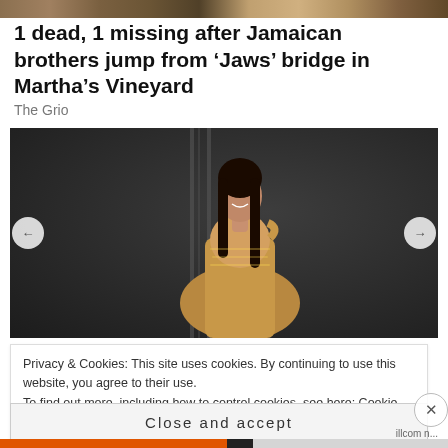[Figure (photo): Partial top banner image, brownish tones]
1 dead, 1 missing after Jamaican brothers jump from ‘Jaws’ bridge in Martha’s Vineyard
The Grio
[Figure (photo): Woman in gold sequined gown posing against dark grey/charcoal background with vertical panel lines]
Privacy & Cookies: This site uses cookies. By continuing to use this website, you agree to their use.
To find out more, including how to control cookies, see here: Cookie Policy
Close and accept